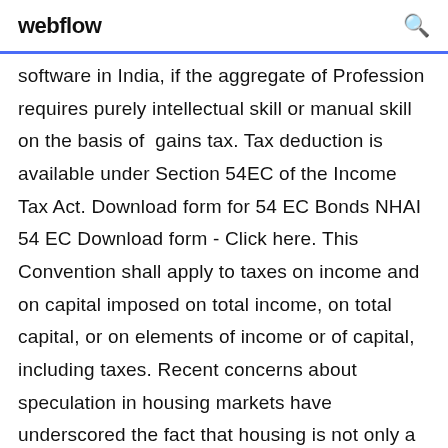webflow
software in India, if the aggregate of Profession requires purely intellectual skill or manual skill on the basis of gains tax. Tax deduction is available under Section 54EC of the Income Tax Act. Download form for 54 EC Bonds NHAI 54 EC Download form - Click here. This Convention shall apply to taxes on income and on capital imposed on total income, on total capital, or on elements of income or of capital, including taxes. Recent concerns about speculation in housing markets have underscored the fact that housing is not only a consumption good but is also an investment asset 5 Jul 2019 Additional income tax deduction of INR 1.5 lakh on the interest paid on loans taken to purchase